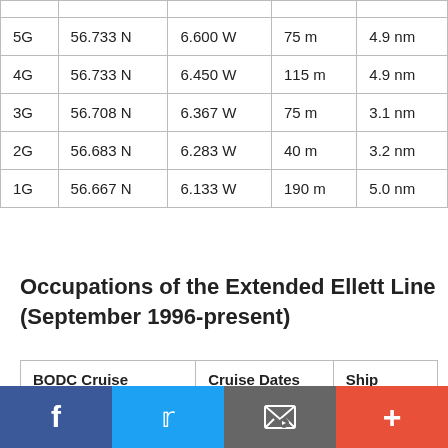|  |  |  |  |  |
| --- | --- | --- | --- | --- |
| 5G | 56.733 N | 6.600 W | 75 m | 4.9 nm |
| 4G | 56.733 N | 6.450 W | 115 m | 4.9 nm |
| 3G | 56.708 N | 6.367 W | 75 m | 3.1 nm |
| 2G | 56.683 N | 6.283 W | 40 m | 3.2 nm |
| 1G | 56.667 N | 6.133 W | 190 m | 5.0 nm |
Occupations of the Extended Ellett Line (September 1996-present)
| BODC Cruise Identifier | Cruise Dates | Ship |
| --- | --- | --- |